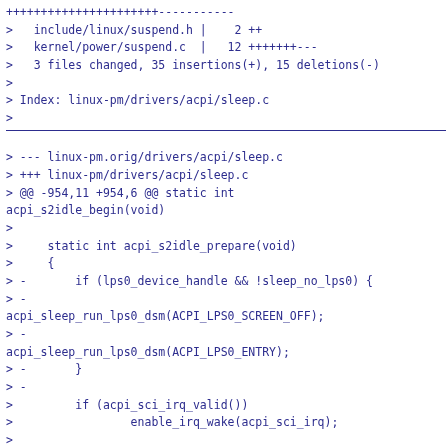++++++++++++++++++++++-----------
>   include/linux/suspend.h |    2 ++
>   kernel/power/suspend.c  |   12 +++++++---
>   3 files changed, 35 insertions(+), 15 deletions(-)
>
> Index: linux-pm/drivers/acpi/sleep.c
>
=================================================================
> --- linux-pm.orig/drivers/acpi/sleep.c
> +++ linux-pm/drivers/acpi/sleep.c
> @@ -954,11 +954,6 @@ static int acpi_s2idle_begin(void)
>
>     static int acpi_s2idle_prepare(void)
>     {
> -       if (lps0_device_handle && !sleep_no_lps0) {
> -
acpi_sleep_run_lps0_dsm(ACPI_LPS0_SCREEN_OFF);
> -
acpi_sleep_run_lps0_dsm(ACPI_LPS0_ENTRY);
> -       }
> -
>         if (acpi_sci_irq_valid())
>                 enable_irq_wake(acpi_sci_irq);
>
> @@ -972,11 +967,22 @@ static int acpi_s2idle_prepare(void)
>       return 0;
>    }
>